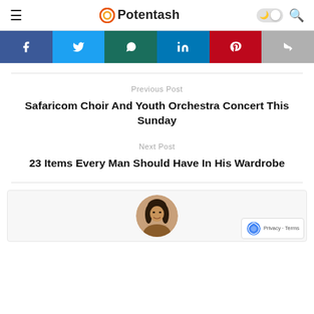Potentash
[Figure (screenshot): Social media share buttons: Facebook, Twitter, WhatsApp, LinkedIn, Pinterest, and a forward/share button]
Previous Post
Safaricom Choir And Youth Orchestra Concert This Sunday
Next Post
23 Items Every Man Should Have In His Wardrobe
[Figure (photo): Circular profile photo of a woman with long dark hair, smiling]